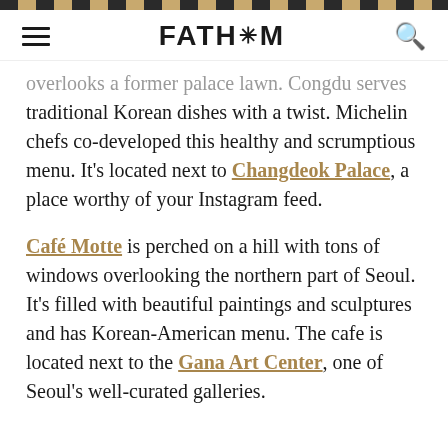FATH*M
overlooks a former palace lawn. Congdu serves traditional Korean dishes with a twist. Michelin chefs co-developed this healthy and scrumptious menu. It's located next to Changdeok Palace, a place worthy of your Instagram feed.
Café Motte is perched on a hill with tons of windows overlooking the northern part of Seoul. It's filled with beautiful paintings and sculptures and has Korean-American menu. The cafe is located next to the Gana Art Center, one of Seoul's well-curated galleries.